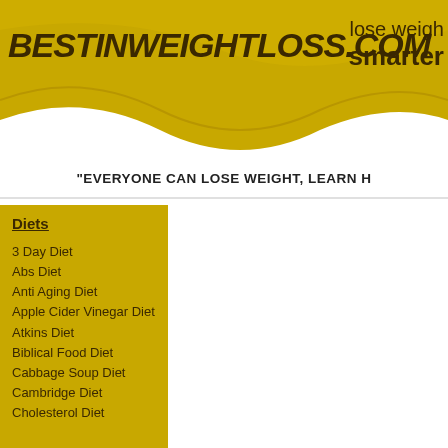BESTINWEIGHTLOSS.COM | lose weight smarter
"EVERYONE CAN LOSE WEIGHT, LEARN H
Diets
3 Day Diet
Abs Diet
Anti Aging Diet
Apple Cider Vinegar Diet
Atkins Diet
Biblical Food Diet
Cabbage Soup Diet
Cambridge Diet
Cholesterol Diet